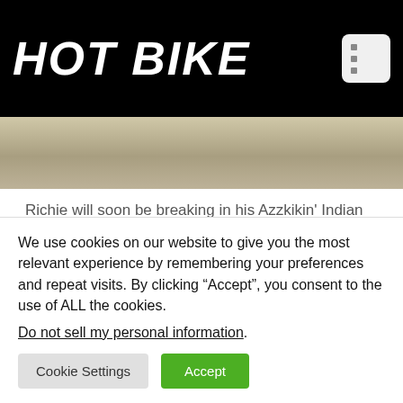HOT BIKE
[Figure (photo): Partial photo showing a concrete or pavement surface, cropped at top]
Richie will soon be breaking in his Azzkikin' Indian Scout Bobber on the 2018 Veterans Ride to Sturgis.
Courtesy of Richard and Kerry Neider
Two Chairs has transformed since getting back on a
We use cookies on our website to give you the most relevant experience by remembering your preferences and repeat visits. By clicking “Accept”, you consent to the use of ALL the cookies.
Do not sell my personal information.